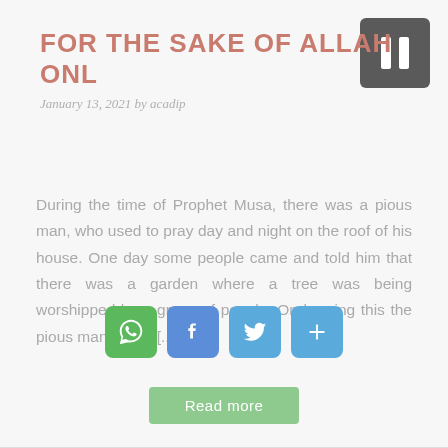FOR THE SAKE OF ALLAH ONLY
January 13, 2021 by acadip
[Figure (other): Dark gray pause button icon (two vertical bars on dark gray rounded rectangle background), top right corner]
During the time of Prophet Musa, there was a pious man, who used to pray day and night on the roof of his house. One day some people came and told him that there was a garden where a tree was being worshipped by a group of people. On hearing this the pious man picked[...]
[Figure (other): Social sharing icons: WhatsApp (green), Facebook (blue), Twitter (light blue), AddThis (light blue)]
Read more